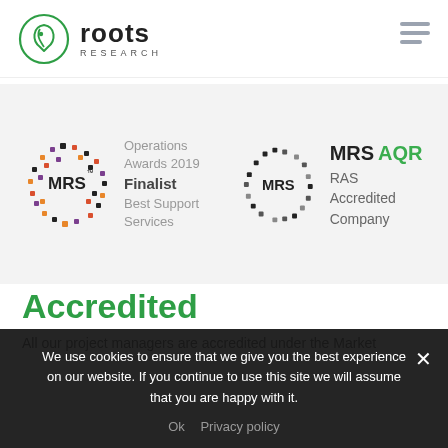[Figure (logo): Roots Research logo with green circular leaf icon and bold 'roots RESEARCH' text]
[Figure (logo): MRS Operations Awards 2019 Finalist Best Support Services badge with colorful pixel circle]
[Figure (logo): MRS AQR RAS Accredited Company badge with pixel circle and green AQR text]
Accredited
All our project managers are accredited under the Market
We use cookies to ensure that we give you the best experience on our website. If you continue to use this site we will assume that you are happy with it.
Ok  Privacy policy